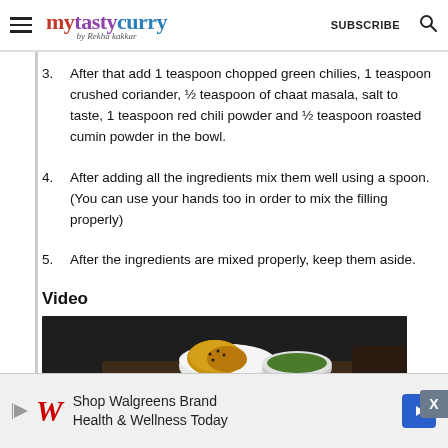mytastycurry by Rekha kakkar — SUBSCRIBE
3. After that add 1 teaspoon chopped green chilies, 1 teaspoon crushed coriander, ½ teaspoon of chaat masala, salt to taste, 1 teaspoon red chili powder and ½ teaspoon roasted cumin powder in the bowl.
4. After adding all the ingredients mix them well using a spoon. (You can use your hands too in order to mix the filling properly)
5. After the ingredients are mixed properly, keep them aside.
Video
[Figure (photo): Food photograph showing golden fried snacks in a white bowl alongside a green chutney dip on a dark wooden surface]
Shop Walgreens Brand Health & Wellness Today